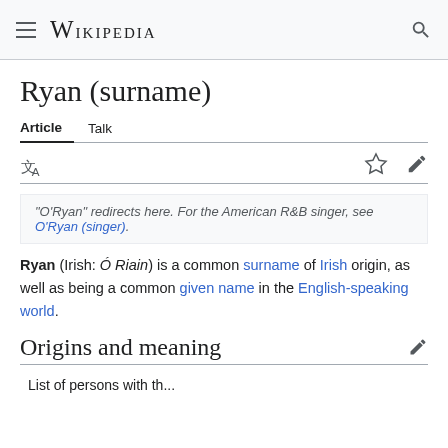Wikipedia
Ryan (surname)
Article   Talk
"O'Ryan" redirects here. For the American R&B singer, see O'Ryan (singer).
Ryan (Irish: Ó Riain) is a common surname of Irish origin, as well as being a common given name in the English-speaking world.
Origins and meaning
List of persons with the...